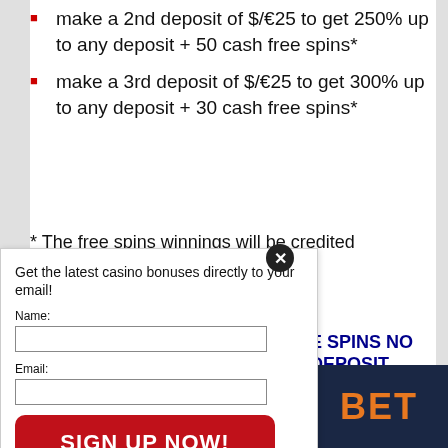make a 2nd deposit of $/€25 to get 250% up to any deposit + 50 cash free spins*
make a 3rd deposit of $/€25 to get 300% up to any deposit + 30 cash free spins*
* The free spins winnings will be credited ...um value of €200!
[Figure (screenshot): Email subscription popup with Name and Email fields, Sign Up Now button, privacy notice, and AWeber branding. Includes a close button (X).]
E SPINS NO DEPOSIT
[Figure (logo): Dark navy blue background with orange bold text reading BET]